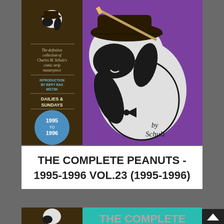[Figure (illustration): Book cover of The Complete Peanuts 1995-1996 Vol.23. Purple background with large Snoopy character wearing a hat, brown spine with text. Spine reads: 'The definitive collection of Charles M. Schulz's comic strip masterpiece. Introduction by RiffTrax MST3K. Dailies & Sundays. 1995 to 1996'. Signed 'by Schulz'.]
THE COMPLETE PEANUTS - 1995-1996 VOL.23 (1995-1996)
[Figure (illustration): Partial book cover of another Complete Peanuts volume. Teal/turquoise background with Snoopy character partially visible, brown spine with text 'The definitive collection of Charles M. Schulz's'.]